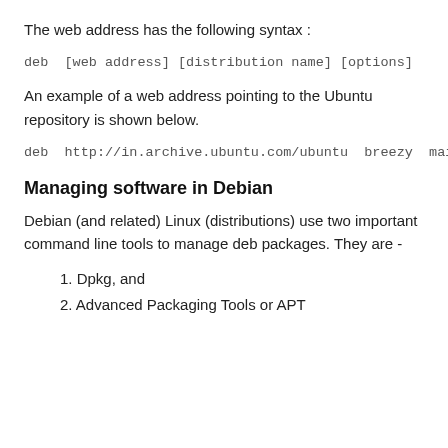The web address has the following syntax :
An example of a web address pointing to the Ubuntu repository is shown below.
Managing software in Debian
Debian (and related) Linux (distributions) use two important command line tools to manage deb packages. They are -
1. Dpkg, and
2. Advanced Packaging Tools or APT